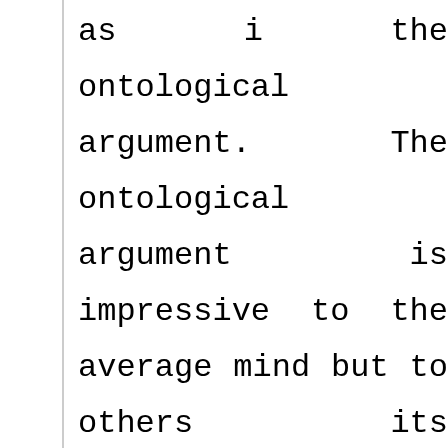as i the ontological argument. The ontological argument is impressive to the average mind but to others its deception is clear. With words like perfect, necessary and existent that are built into its definition, it seems impossible to be argued with. Even if the theist could